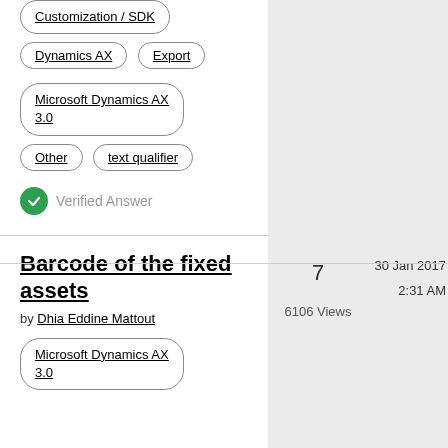Customization / SDK
Dynamics AX
Export
Microsoft Dynamics AX 3.0
Other
text qualifier
Verified Answer
Barcode of the fixed assets
by Dhia Eddine Mattout
7
6106 Views
30 Jan 2017
2:31 AM
Microsoft Dynamics AX 3.0